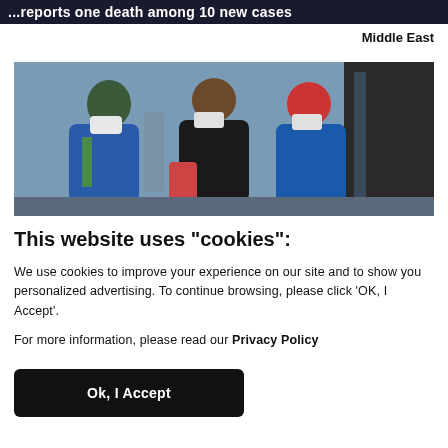...reports one death among 10 new cases
Middle East
[Figure (photo): Three people wearing face masks and colorful winter hats walk through what appears to be an airport or transit area. Person on left wears green hat and blue coat, middle person wears brown hat and black coat, right person wears red hat and blue coat.]
This website uses "cookies":
We use cookies to improve your experience on our site and to show you personalized advertising. To continue browsing, please click ‘OK, I Accept’.
For more information, please read our Privacy Policy
Ok, I Accept